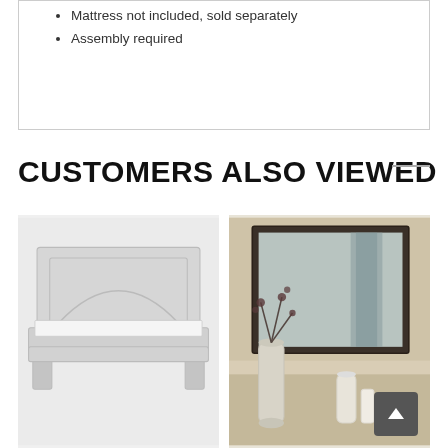Mattress not included, sold separately
Assembly required
CUSTOMERS ALSO VIEWED
[Figure (photo): White panel bed frame product photo on light gray background]
[Figure (photo): Dark-framed mirror with decorative vases, wall-mounted, warm beige room background]